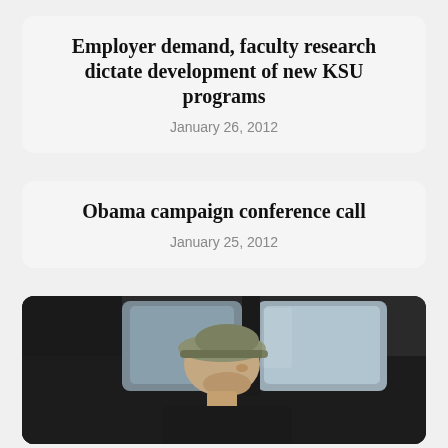Employer demand, faculty research dictate development of new KSU programs
January 26, 2012
Obama campaign conference call
January 25, 2012
[Figure (photo): A man wearing a baseball cap sitting inside a vehicle, viewed from the side, with windows and vehicle interior visible in the background.]